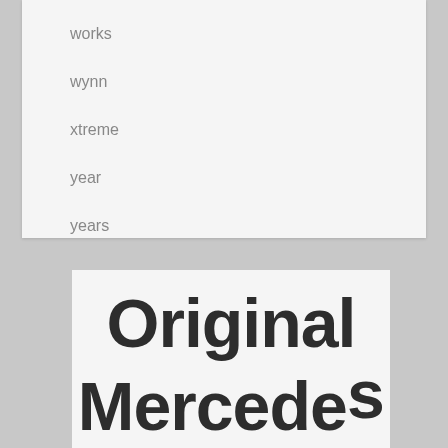works
wynn
xtreme
year
years
[Figure (illustration): Partial view of text reading 'Original Mercedes' in large bold condensed font on a light background]